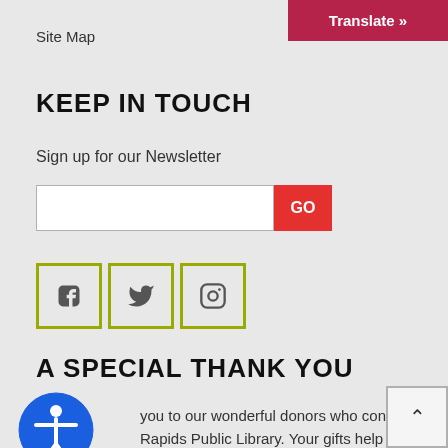Site Map
[Figure (other): Translate button in dark red/maroon color with text 'Translate »']
KEEP IN TOUCH
Sign up for our Newsletter
[Figure (other): Email input field with white background and a red GO button]
[Figure (other): Three olive-green bordered social media icon buttons: Facebook (f), Twitter (bird), Instagram (camera)]
A SPECIAL THANK YOU
you to our wonderful donors who continue to support t Cedar Rapids Public Library. Your gifts help us provide innova